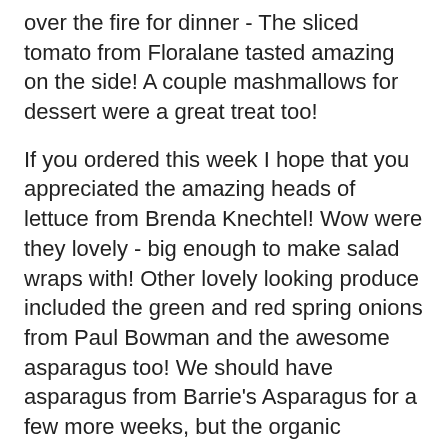over the fire for dinner - The sliced tomato from Floralane tasted amazing on the side! A couple mashmallows for dessert were a great treat too!
If you ordered this week I hope that you appreciated the amazing heads of lettuce from Brenda Knechtel! Wow were they lovely - big enough to make salad wraps with! Other lovely looking produce included the green and red spring onions from Paul Bowman and the awesome asparagus too! We should have asparagus from Barrie's Asparagus for a few more weeks, but the organic asparagus farmers seems to be about done now... Hopefully this will give them more time to pick strawberries (hopefully we'll find some on the Spontaneous Table this Friday)! Right now most of the local strawberries are coming from the Simcoe area, but we'll have some awesome no spray and organic strawberries very soon!
Do you love herbs? The selection of herbs right now is growing. Look for some yummy ones from Elvina Bauman, Brenda Knechtel and Candace of Transpire Organics. We've been enjoying the oregano, tarragon and chives from or